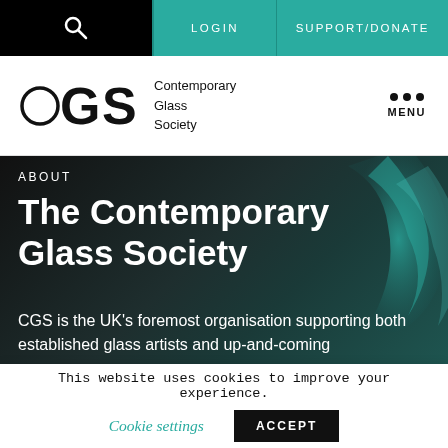LOGIN | SUPPORT/DONATE
[Figure (logo): Contemporary Glass Society (CGS) logo with circular C, G, S letters and text 'Contemporary Glass Society']
ABOUT
The Contemporary Glass Society
CGS is the UK's foremost organisation supporting both established glass artists and up-and-coming
This website uses cookies to improve your experience.
Cookie settings | ACCEPT